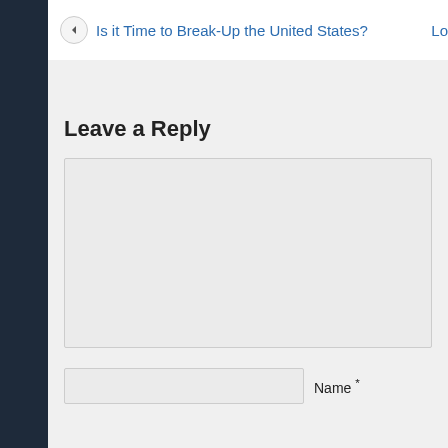Is it Time to Break-Up the United States?   Lo
Leave a Reply
Name *